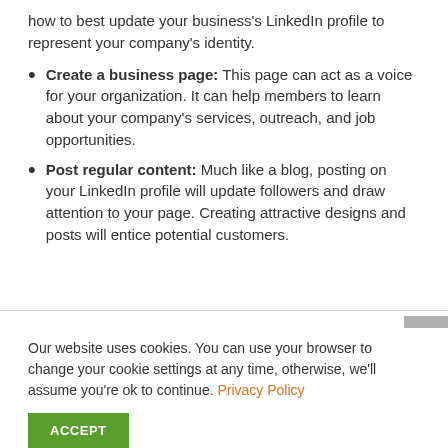how to best update your business's LinkedIn profile to represent your company's identity.
Create a business page: This page can act as a voice for your organization. It can help members to learn about your company's services, outreach, and job opportunities.
Post regular content: Much like a blog, posting on your LinkedIn profile will update followers and draw attention to your page. Creating attractive designs and posts will entice potential customers.
Our website uses cookies. You can use your browser to change your cookie settings at any time, otherwise, we'll assume you're ok to continue. Privacy Policy
ACCEPT